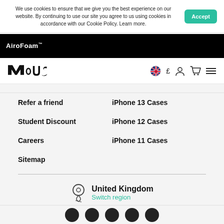We use cookies to ensure that we give you the best experience on our website. By continuing to use our site you agree to us using cookies in accordance with our Cookie Policy. Learn more.
[Figure (logo): Mous brand logo in black]
[Figure (screenshot): Navigation bar with UK flag, pound sign, account, cart, and menu icons]
Refer a friend
iPhone 13 Cases
Student Discount
iPhone 12 Cases
Careers
iPhone 11 Cases
Sitemap
United Kingdom
Switch region